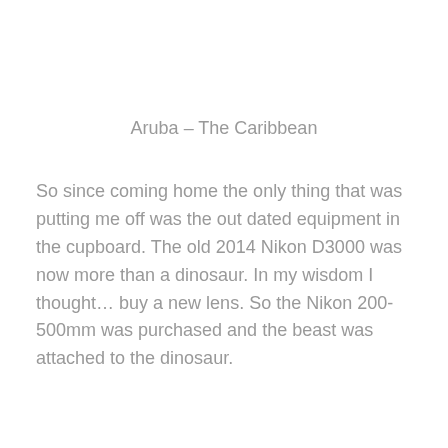Aruba – The Caribbean
So since coming home the only thing that was putting me off was the out dated equipment in the cupboard. The old 2014 Nikon D3000 was now more than a dinosaur. In my wisdom I thought… buy a new lens. So the Nikon 200-500mm was purchased and the beast was attached to the dinosaur.